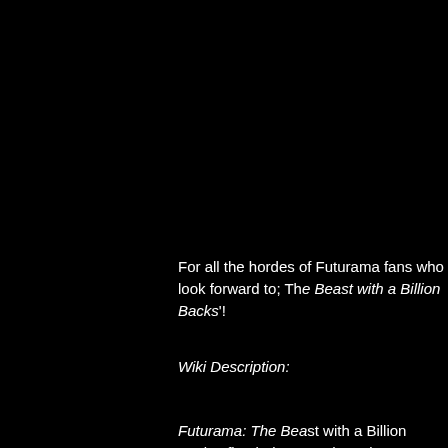For all the hordes of Futurama fans who look forward to; The Beast with a Billion Backs'!
Wiki Description:
Futurama: The Beast with a Billion Backs, first being 'Bender's Big Score', followed by a UK release on
The film will follow "planet-sized alien